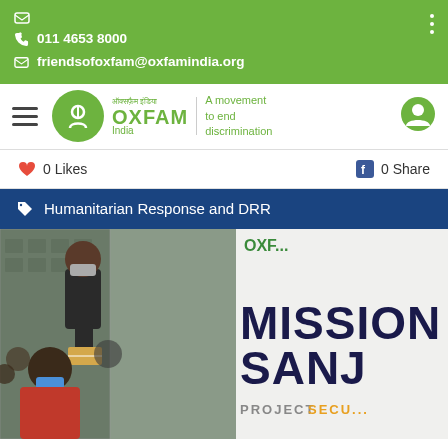011 4653 8000
friendsofoxfam@oxfamindia.org
[Figure (logo): Oxfam India logo with circular green emblem, text 'OXFAM India' and tagline 'A movement to end discrimination']
0 Likes   0 Share
Humanitarian Response and DRR
[Figure (photo): Left: outdoor scene showing a masked person handing items to another masked person wearing a face mask. Right: a white banner reading 'MISSION SANJ' (partially visible) and 'PROJECT SECURE' (partially visible) in large text.]